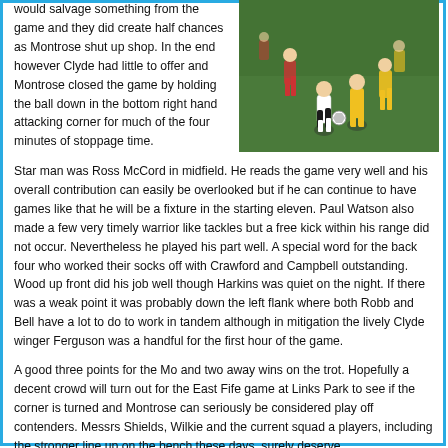would salvage something from the game and they did create half chances as Montrose shut up shop. In the end however Clyde had little to offer and Montrose closed the game by holding the ball down in the bottom right hand attacking corner for much of the four minutes of stoppage time.
[Figure (photo): Action photo of football players competing for the ball on a pitch, one in white/black kit and others in yellow kit]
Star man was Ross McCord in midfield. He reads the game very well and his overall contribution can easily be overlooked but if he can continue to have games like that he will be a fixture in the starting eleven. Paul Watson also made a few very timely warrior like tackles but a free kick within his range did not occur. Nevertheless he played his part well. A special word for the back four who worked their socks off with Crawford and Campbell outstanding. Wood up front did his job well though Harkins was quiet on the night. If there was a weak point it was probably down the left flank where both Robb and Bell have a lot to do to work in tandem although in mitigation the lively Clyde winger Ferguson was a handful for the first hour of the game.
A good three points for the Mo and two away wins on the trot. Hopefully a decent crowd will turn out for the East Fife game at Links Park to see if the corner is turned and Montrose can seriously be considered play off contenders. Messrs Shields, Wilkie and the current squad a players, including the stronger line up on the bench these days, surely deserve